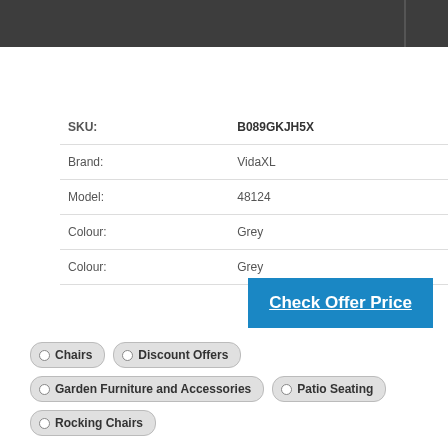| Field | Value |
| --- | --- |
| SKU: | B089GKJH5X |
| Brand: | VidaXL |
| Model: | 48124 |
| Colour: | Grey |
| Colour: | Grey |
Check Offer Price
Chairs
Discount Offers
Garden Furniture and Accessories
Patio Seating
Rocking Chairs